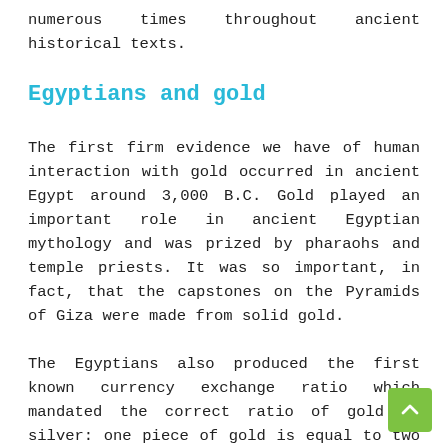numerous times throughout ancient historical texts.
Egyptians and gold
The first firm evidence we have of human interaction with gold occurred in ancient Egypt around 3,000 B.C. Gold played an important role in ancient Egyptian mythology and was prized by pharaohs and temple priests. It was so important, in fact, that the capstones on the Pyramids of Giza were made from solid gold.
The Egyptians also produced the first known currency exchange ratio which mandated the correct ratio of gold to silver: one piece of gold is equal to two and a half parts of silver